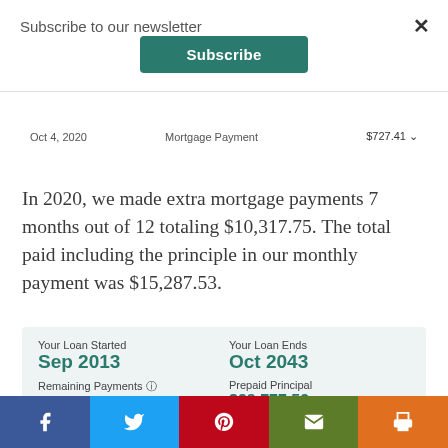Subscribe to our newsletter
Subscribe (button)
| Date | Description | Amount |
| --- | --- | --- |
| Oct 4, 2020 | Mortgage Payment | $727.41 |
In 2020, we made extra mortgage payments 7 months out of 12 totaling $10,317.75. The total paid including the principle in our monthly payment was $15,287.53.
| Your Loan Started | Your Loan Ends | Remaining Payments | Prepaid Principal |
| --- | --- | --- | --- |
| Sep 2013 | Oct 2043 | 139 | $28,777.52 |